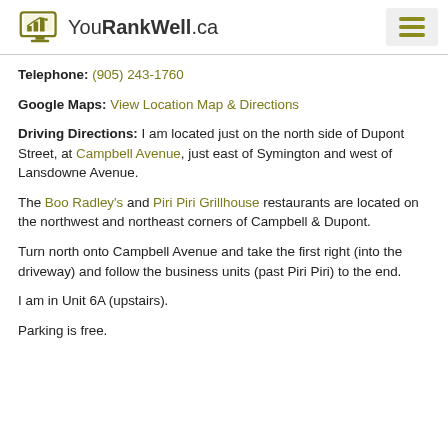YouRankWell.ca
Telephone: (905) 243-1760
Google Maps: View Location Map & Directions
Driving Directions: I am located just on the north side of Dupont Street, at Campbell Avenue, just east of Symington and west of Lansdowne Avenue.
The Boo Radley's and Piri Piri Grillhouse restaurants are located on the northwest and northeast corners of Campbell & Dupont.
Turn north onto Campbell Avenue and take the first right (into the driveway) and follow the business units (past Piri Piri) to the end.
I am in Unit 6A (upstairs).
Parking is free.